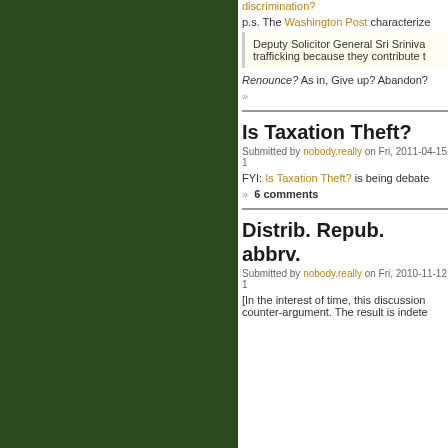discrimination?
p.s. The Washington Post characterize
Deputy Solicitor General Sri Sriniva... trafficking because they contribute t
Renounce? As in, Give up? Abandon?
»
Is Taxation Theft?
Submitted by nobody.really on Fri, 2011-04-15 1
FYI: Is Taxation Theft? is being debate
» 6 comments
Distrib. Repub. abbrv.
Submitted by nobody.really on Fri, 2010-11-12 1
[In the interest of time, this discussion counter-argument. The result is indete